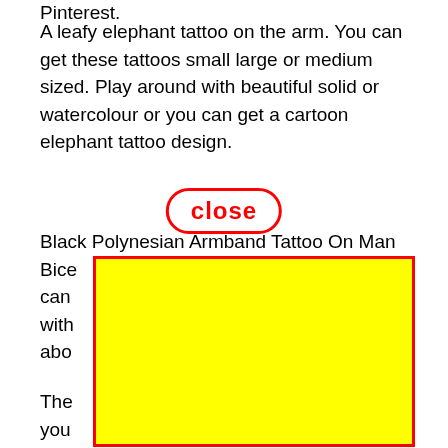Pinterest.
A leafy elephant tattoo on the arm. You can get these tattoos small large or medium sized. Play around with beautiful solid or watercolour or you can get a cartoon elephant tattoo design.
[Figure (other): A red-outlined yellow rectangle overlay covering part of the page content, with a red-outlined 'close' button in bold red text above it.]
Black Polynesian Armband Tattoo On Man Bicep. You can get a tattoo with the image above.
The bold of art will Black Elephant Armband Tattoo Design.